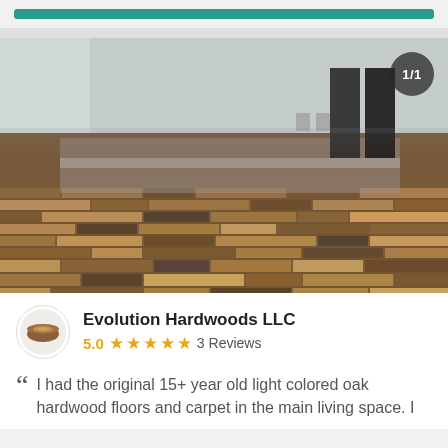[Figure (photo): Interior room photo showing newly installed hardwood plank flooring with varied brown tones. The room has light grey walls, outlet plates visible, and some flooring materials stacked in the background. A '1/1' badge appears in the top-right corner of the image.]
Evolution Hardwoods LLC
5.0 ★★★★★ 3 Reviews
I had the original 15+ year old light colored oak hardwood floors and carpet in the main living space. I